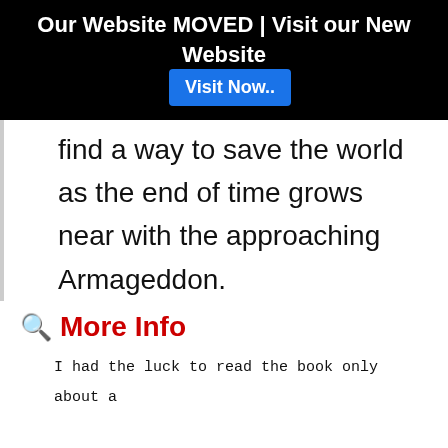Our Website MOVED | Visit our New Website  Visit Now..
find a way to save the world as the end of time grows near with the approaching Armageddon.
🔍 More Info
I had the luck to read the book only about a month ago, so I was truly prepared to be disappointed by the series. After all, doesn't everyone always say, "but the book is SO much better!"? Now, after seeing Good